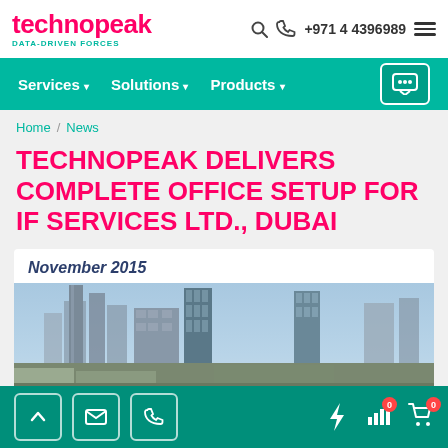technopeak DATA-DRIVEN FORCES | +971 4 4396989
[Figure (screenshot): Navigation menu bar with teal background showing Services, Solutions, Products dropdowns and chat icon]
Home / News
TECHNOPEAK DELIVERS COMPLETE OFFICE SETUP FOR IF SERVICES LTD., DUBAI
November 2015
[Figure (photo): City skyline with modern glass skyscrapers under a blue sky, representing Dubai or a major city]